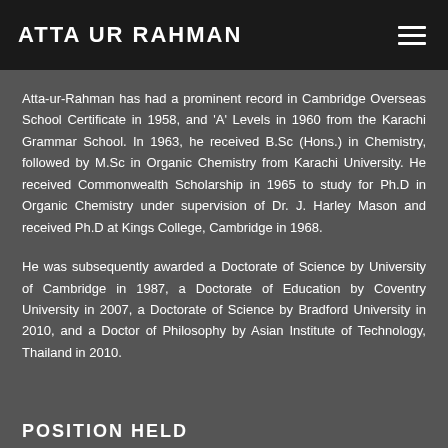ATTA UR RAHMAN
Atta-ur-Rahman has had a prominent record in Cambridge Overseas School Certificate in 1958, and 'A' Levels in 1960 from the Karachi Grammar School. In 1963, he received B.Sc (Hons.) in Chemistry, followed by M.Sc in Organic Chemistry from Karachi University. He received Commonwealth Scholarship in 1965 to study for Ph.D in Organic Chemistry under supervision of Dr. J. Harley Mason and received Ph.D at Kings College, Cambridge in 1968.
He was subsequently awarded a Doctorate of Science by University of Cambridge in 1987, a Doctorate of Education by Coventry University in 2007, a Doctorate of Science by Bradford University in 2010, and a Doctor of Philosophy by Asian Institute of Technology, Thailand in 2010.
POSITION HELD